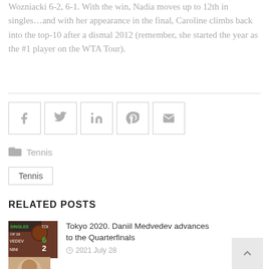Wozniacki 6-2, 6-1. With the win, Nadia moves up to 12th in singles…and with her appearance in the final, Caroline climbs back into the top-10 after a dismal 2012 (remember, she started the year as the #1 player on the WTA Tour).
[Figure (infographic): Social sharing icon buttons: Facebook, Twitter, LinkedIn, Pinterest, Email]
Tennis
Tennis
RELATED POSTS
[Figure (photo): Tennis score screen showing Medvedev 6, Dini 2 in Singles round of 16]
Tokyo 2020. Daniil Medvedev advances to the Quarterfinals
2021 July 28
[Figure (photo): Partial thumbnail of a person's face for second related post]